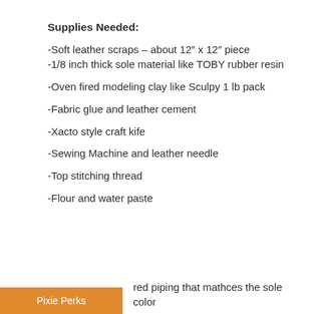Supplies Needed:
-Soft leather scraps – about 12″ x 12″ piece
-1/8 inch thick sole material like TOBY rubber resin
-Oven fired modeling clay like Sculpy 1 lb pack
-Fabric glue and leather cement
-Xacto style craft kife
-Sewing Machine and leather needle
-Top stitching thread
-Flour and water paste
Pixie Perks
-Colored piping that mathces the sole color